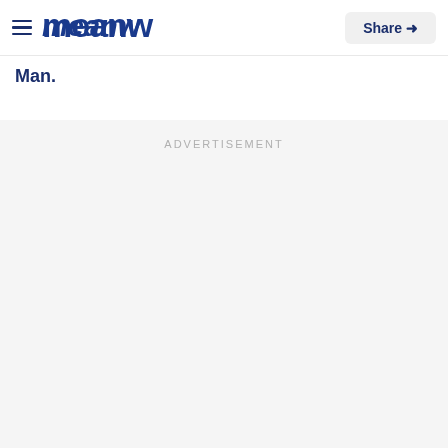Meanw — Share
Man.
ADVERTISEMENT